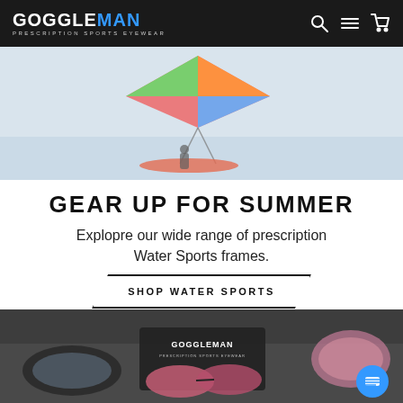GOGGLEMAN PRESCRIPTION SPORTS EYEWEAR
[Figure (photo): Kite surfer hero image with colorful kite and surfboard, light blue sky background]
GEAR UP FOR SUMMER
Explopre our wide range of prescription Water Sports frames.
SHOP WATER SPORTS
[Figure (photo): Product display of Goggleman prescription sports eyewear sunglasses on a display stand, with a Goggleman branded case and pink/rose tinted lenses]